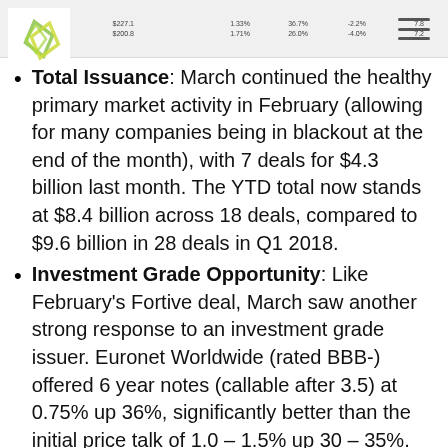Header strip with table data rows
Total Issuance: March continued the healthy primary market activity in February (allowing for many companies being in blackout at the end of the month), with 7 deals for $4.3 billion last month. The YTD total now stands at $8.4 billion across 18 deals, compared to $9.6 billion in 28 deals in Q1 2018.
Investment Grade Opportunity: Like February's Fortive deal, March saw another strong response to an investment grade issuer. Euronet Worldwide (rated BBB-) offered 6 year notes (callable after 3.5) at 0.75% up 36%, significantly better than the initial price talk of 1.0 – 1.5% up 30 – 35%. Once again, investors paid 100 for a security with a theoretical value